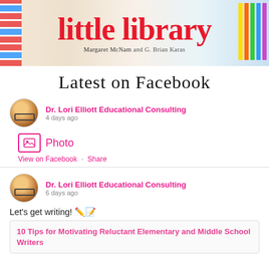[Figure (photo): Photo of a book cover for 'little library' by Margaret McNamara and G. Brian Karas, held by a hand, with colorful pencils in the background]
Latest on Facebook
Dr. Lori Elliott Educational Consulting
4 days ago
Photo
View on Facebook  ·  Share
Dr. Lori Elliott Educational Consulting
6 days ago
Let's get writing! ✏️📝
10 Tips for Motivating Reluctant Elementary and Middle School Writers